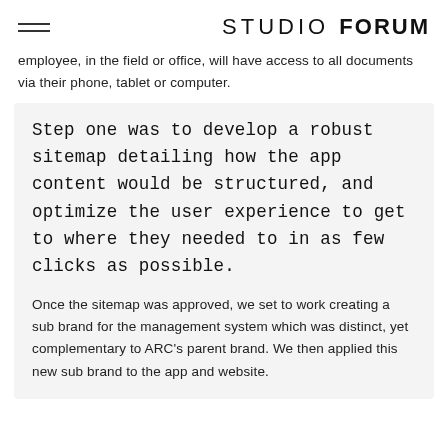STUDIO FORUM
employee, in the field or office, will have access to all documents via their phone, tablet or computer.
Step one was to develop a robust sitemap detailing how the app content would be structured, and optimize the user experience to get to where they needed to in as few clicks as possible.
Once the sitemap was approved, we set to work creating a sub brand for the management system which was distinct, yet complementary to ARC's parent brand. We then applied this new sub brand to the app and website.